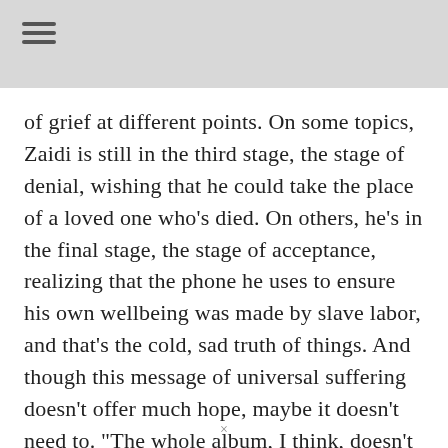of grief at different points. On some topics, Zaidi is still in the third stage, the stage of denial, wishing that he could take the place of a loved one who’s died. On others, he’s in the final stage, the stage of acceptance, realizing that the phone he uses to ensure his own wellbeing was made by slave labor, and that’s the cold, sad truth of things. And though this message of universal suffering doesn’t offer much hope, maybe it doesn’t need to. “The whole album, I think, doesn’t really offer that much hope. Like in the lyrics, it’s not like, ‘oh, and then we all recycle, and then the world will be fine.’ But there’s a way in which even
×